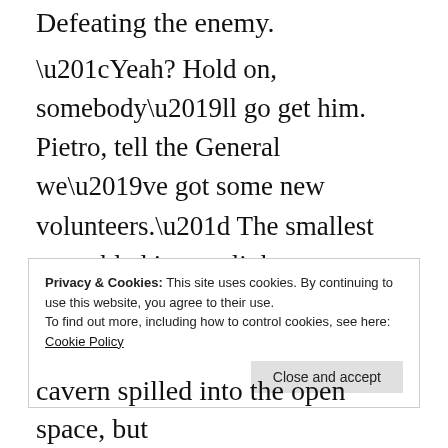Defeating the enemy.
“Yeah? Hold on, somebody’ll go get him. Pietro, tell the General we’ve got some new volunteers.” The smallest scrambled into a slit between two boulders at the base of a recent rockslide.
Privacy & Cookies: This site uses cookies. By continuing to use this website, you agree to their use.
To find out more, including how to control cookies, see here: Cookie Policy
cavern spilled into the open space, but